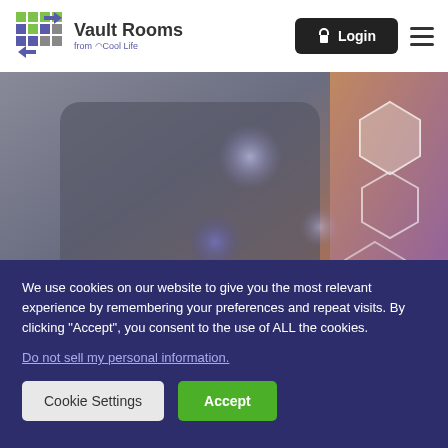Vault Rooms from Cool Life — Login
[Figure (photo): Person in dark jacket touching a digital interface with glowing hexagonal patterns and bokeh light effects]
We use cookies on our website to give you the most relevant experience by remembering your preferences and repeat visits. By clicking "Accept", you consent to the use of ALL the cookies.
Do not sell my personal information.
Cookie Settings  Accept